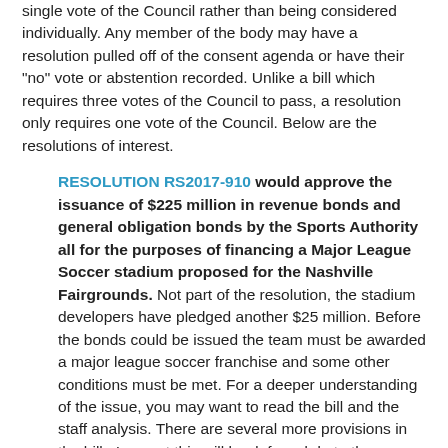single vote of the Council rather than being considered individually. Any member of the body may have a resolution pulled off of the consent agenda or have their "no" vote or abstention recorded. Unlike a bill which requires three votes of the Council to pass, a resolution only requires one vote of the Council. Below are the resolutions of interest.
RESOLUTION RS2017-910 would approve the issuance of $225 million in revenue bonds and general obligation bonds by the Sports Authority all for the purposes of financing a Major League Soccer stadium proposed for the Nashville Fairgrounds. Not part of the resolution, the stadium developers have pledged another $25 million. Before the bonds could be issued the team must be awarded a major league soccer franchise and some other conditions must be met. For a deeper understanding of the issue, you may want to read the bill and the staff analysis. There are several more provisions in the bill. I expect this will be deferred do to the complexity and controversial nature of this issue.